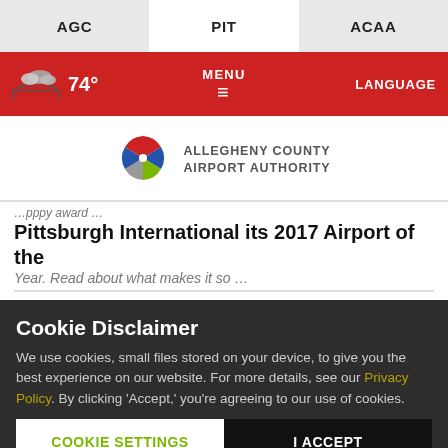AGC | PIT | ACAA
74° MENU LANGUAGE
[Figure (logo): Allegheny County Airport Authority logo with stylized arrow/pinwheel icon in red, green and blue]
ALLEGHENY COUNTY AIRPORT AUTHORITY
Pittsburgh International its 2017 Airport of the Year...
Cookie Disclaimer
We use cookies, small files stored on your device, to give you the best experience on our website. For more details, see our Privacy Policy. By clicking 'Accept,' you're agreeing to our use of cookies.
COOKIE SETTINGS
I ACCEPT
Chat With Us